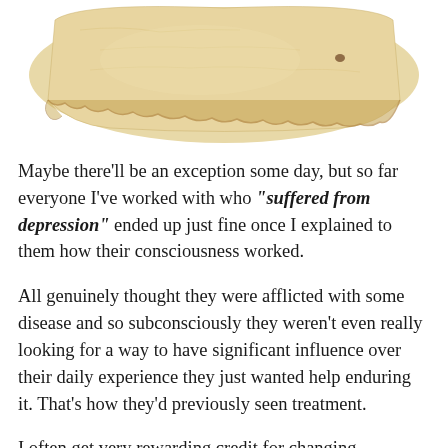[Figure (photo): An aged, yellowed parchment or paper scroll with torn and worn edges, photographed against a white background. The bottom edge of the scroll is visible with a ragged, antique texture.]
Maybe there'll be an exception some day, but so far everyone I've worked with who "suffered from depression" ended up just fine once I explained to them how their consciousness worked.
All genuinely thought they were afflicted with some disease and so subconsciously they weren't even really looking for a way to have significant influence over their daily experience they just wanted help enduring it. That's how they'd previously seen treatment.
I often get very rewarding credit for changing